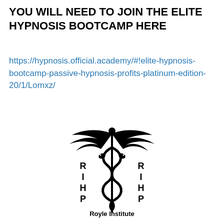YOU WILL NEED TO JOIN THE ELITE HYPNOSIS BOOTCAMP HERE
https://hypnosis.official.academy/#!elite-hypnosis-bootcamp-passive-hypnosis-profits-platinum-edition-20/1/Lomxz/
[Figure (logo): Caduceus medical symbol with two snakes entwined around a staff with wings at top, flanked by letters R I H P on each side. Below reads 'Royle Institute of Hypnotherapy']